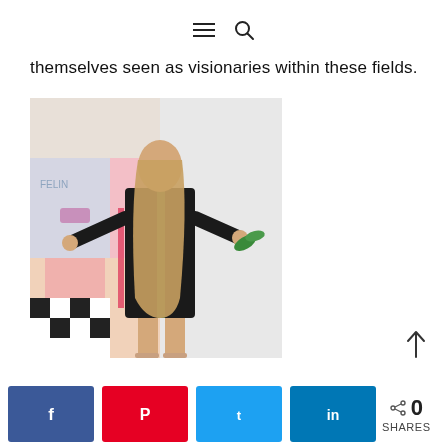menu / search icons
themselves seen as visionaries within these fields.
[Figure (photo): A woman with long hair wearing a black dress, posing in front of colorful artwork with arms outstretched]
Share buttons: Facebook, Pinterest, Twitter, LinkedIn | 0 SHARES